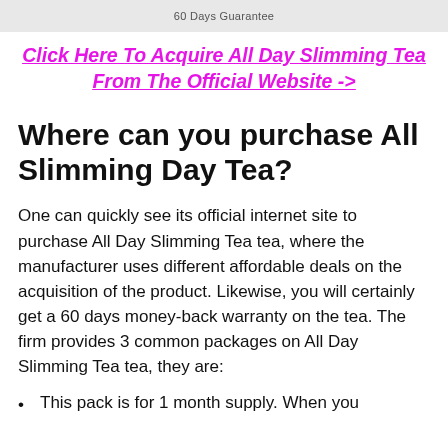60 Days Guarantee
Click Here To Acquire All Day Slimming Tea From The Official Website ->
Where can you purchase All Slimming Day Tea?
One can quickly see its official internet site to purchase All Day Slimming Tea tea, where the manufacturer uses different affordable deals on the acquisition of the product. Likewise, you will certainly get a 60 days money-back warranty on the tea. The firm provides 3 common packages on All Day Slimming Tea tea, they are:
This pack is for 1 month supply. When you